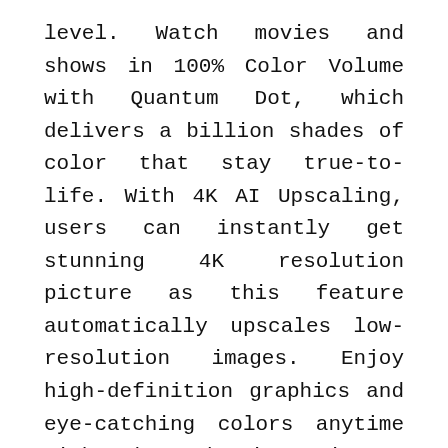level. Watch movies and shows in 100% Color Volume with Quantum Dot, which delivers a billion shades of color that stay true-to-life. With 4K AI Upscaling, users can instantly get stunning 4K resolution picture as this feature automatically upscales low-resolution images. Enjoy high-definition graphics and eye-catching colors anytime with the Adaptive Picture feature, which optimizes the TV to complement a room's lighting ambience.
The Sero's impressive features redefines how people view content, especially with its versatile mobile compatibility. These can also inspire consumers and creators alike to get that creative breakthrough they need to make their projects